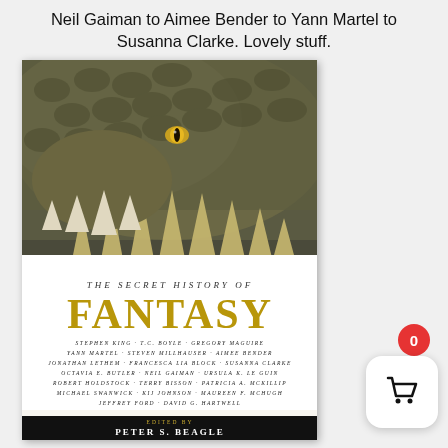Neil Gaiman to Aimee Bender to Yann Martel to Susanna Clarke. Lovely stuff.
[Figure (illustration): Book cover of 'The Secret History of Fantasy' edited by Peter S. Beagle. Features a dragon head close-up at the top with golden-green scales and a yellow eye, and the title in gold and white lettering. Lists authors: Stephen King, T.C. Boyle, Gregory Maguire, Yann Martel, Steven Millhauser, Aimee Bender, Jonathan Lethem, Francesca Lia Block, Susanna Clarke, Octavia E. Butler, Neil Gaiman, Ursula K. Le Guin, Robert Holdstock, Terry Bisson, Patricia A. McKillip, Michael Swanwick, Kij Johnson, Maureen F. McHugh, Jeffrey Ford, David G. Hartwell. Edited by Peter S. Beagle shown at bottom on black band.]